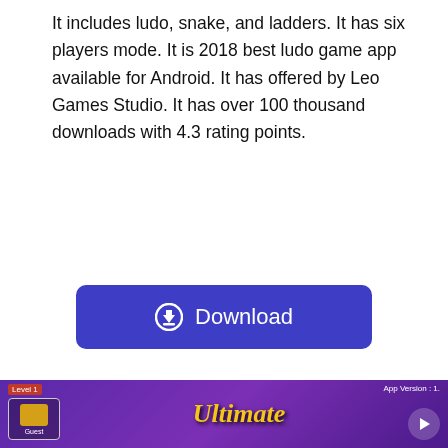It includes ludo, snake, and ladders. It has six players mode. It is 2018 best ludo game app available for Android. It has offered by Leo Games Studio. It has over 100 thousand downloads with 4.3 rating points.
[Figure (other): A blue/purple Download button with a download icon (circle with downward arrow) and the label 'Download' in white text.]
10. Ludo: Star king of Dice Games
It is a classic family game app with lots of features. Play online ludo with your Facebook friends. When you are playing online ludo. Millions of other people play best ludo games online.
[Figure (screenshot): Screenshot of a ludo game app showing 'Level 1', 'App Version: 1.x', 'Guest' label, and 'Ultimate' text in yellow on a purple background.]